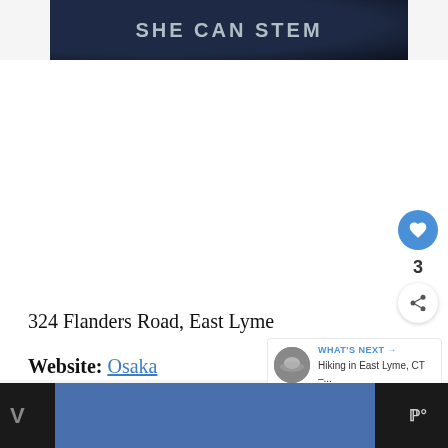[Figure (logo): SHE CAN STEM banner with dark navy/starfield background and bold light-gray uppercase text]
324 Flanders Road, East Lyme
Website: Osaka
[Figure (infographic): What's Next panel with thumbnail image, label 'WHAT'S NEXT →' and text 'Hiking in East Lyme, CT –...']
[Figure (infographic): Bottom bar with blue rectangle, partial V text on left, and Wm logo on right]